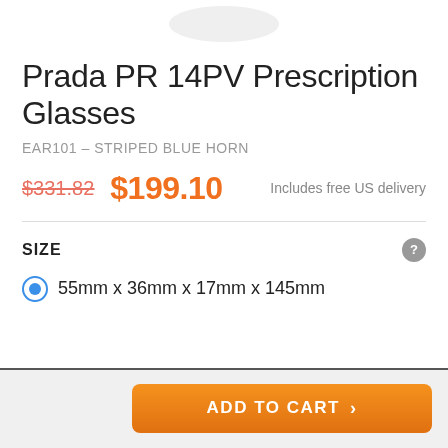[Figure (other): Partial product image ellipse/shadow at top of page]
Prada PR 14PV Prescription Glasses
EAR101 - STRIPED BLUE HORN
$331.82  $199.10  Includes free US delivery
SIZE
55mm x 36mm x 17mm x 145mm
ADD TO CART >